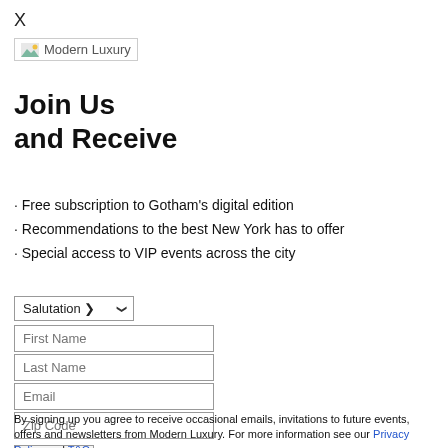X
[Figure (logo): Modern Luxury logo image placeholder]
Join Us
and Receive
· Free subscription to Gotham's digital edition
· Recommendations to the best New York has to offer
· Special access to VIP events across the city
Salutation [dropdown] / First Name / Last Name / Email / Zip Code / Sign Up button
By signing up you agree to receive occasional emails, invitations to future events, offers and newsletters from Modern Luxury. For more information see our Privacy Policy and T&Cs.